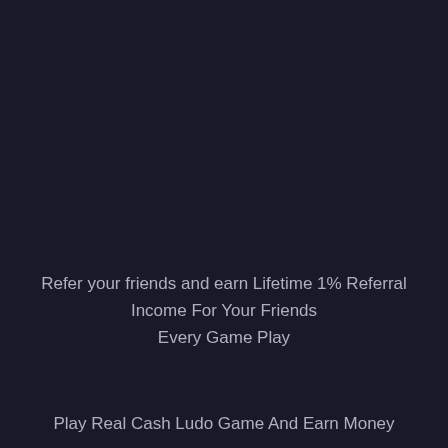Refer your friends and earn Lifetime 1% Referral Income For Your Friends Every Game Play
Play Real Cash Ludo Game And Earn Money